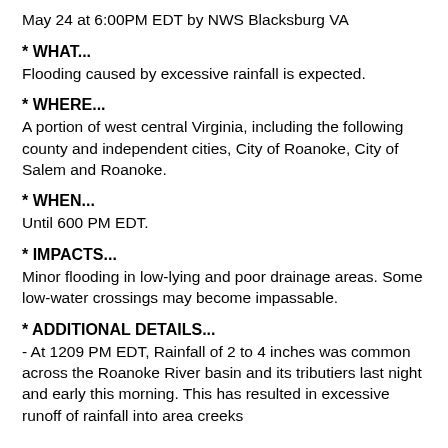May 24 at 6:00PM EDT by NWS Blacksburg VA
* WHAT...
Flooding caused by excessive rainfall is expected.
* WHERE...
A portion of west central Virginia, including the following county and independent cities, City of Roanoke, City of Salem and Roanoke.
* WHEN...
Until 600 PM EDT.
* IMPACTS...
Minor flooding in low-lying and poor drainage areas. Some low-water crossings may become impassable.
* ADDITIONAL DETAILS...
- At 1209 PM EDT, Rainfall of 2 to 4 inches was common across the Roanoke River basin and its tributiers last night and early this morning. This has resulted in excessive runoff of rainfall into area creeks